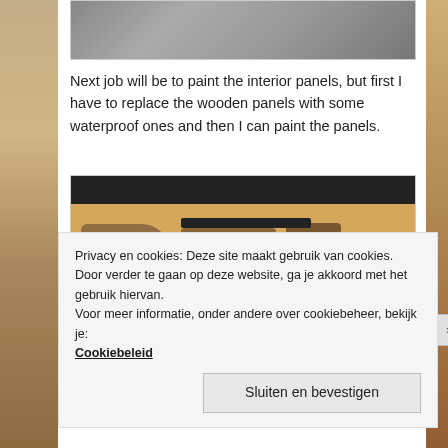[Figure (photo): Top portion of a photo showing items on a tiled or patterned surface, partially cropped]
Next job will be to paint the interior panels, but first I have to replace the wooden panels with some waterproof ones and then I can paint the panels.
[Figure (photo): Car interior panels laid out on a wooden floor, showing brown/tan door panels and trim pieces]
Privacy en cookies: Deze site maakt gebruik van cookies. Door verder te gaan op deze website, ga je akkoord met het gebruik hiervan.
Voor meer informatie, onder andere over cookiebeheer, bekijk je:
Cookiebeleid
Sluiten en bevestigen